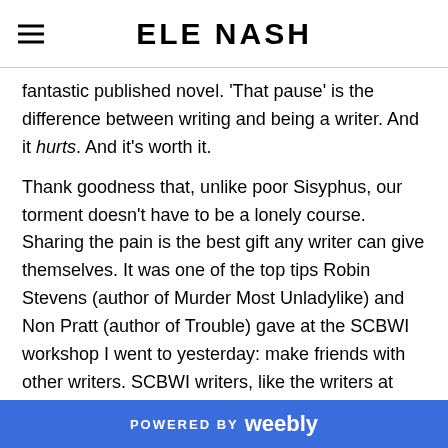ELE NASH
fantastic published novel. 'That pause' is the difference between writing and being a writer. And it hurts. And it's worth it.
Thank goodness that, unlike poor Sisyphus, our torment doesn't have to be a lonely course. Sharing the pain is the best gift any writer can give themselves. It was one of the top tips Robin Stevens (author of Murder Most Unladylike) and Non Pratt (author of Trouble) gave at the SCBWI workshop I went to yesterday: make friends with other writers. SCBWI writers, like the writers at Golden Egg, are at various points on the mountain but they are all cheering each other on. 'Cos children's writers are a really
POWERED BY weebly